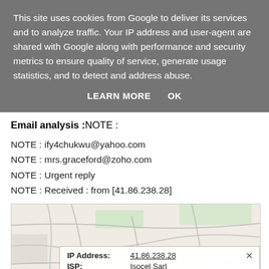This site uses cookies from Google to deliver its services and to analyze traffic. Your IP address and user-agent are shared with Google along with performance and security metrics to ensure quality of service, generate usage statistics, and to detect and address abuse.
LEARN MORE   OK
Email analysis :NOTE :
NOTE : ify4chukwu@yahoo.com
NOTE : mrs.graceford@zoho.com
NOTE : Urgent reply
NOTE : Received : from [41.86.238.28]
[Figure (map): Map showing location with popup displaying IP address details. IP Address: 41.86.238.28, ISP: Isocel Sarl, Organization: Isocel Telecom, Region: Cotonou (BJ). Map area shows partial label 'Tam' at left edge.]